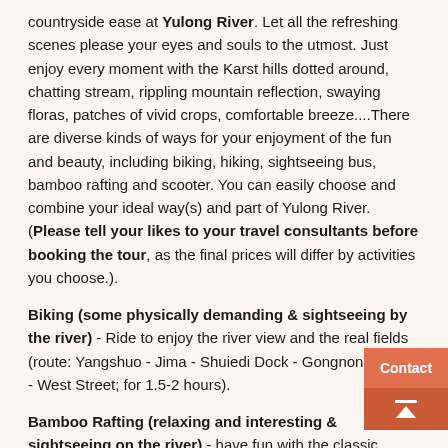countryside ease at Yulong River. Let all the refreshing scenes please your eyes and souls to the utmost. Just enjoy every moment with the Karst hills dotted around, chatting stream, rippling mountain reflection, swaying floras, patches of vivid crops, comfortable breeze....There are diverse kinds of ways for your enjoyment of the fun and beauty, including biking, hiking, sightseeing bus, bamboo rafting and scooter. You can easily choose and combine your ideal way(s) and part of Yulong River. (Please tell your likes to your travel consultants before booking the tour, as the final prices will differ by activities you choose.).
Biking (some physically demanding & sightseeing by the river) - Ride to enjoy the river view and the real fields (route: Yangshuo - Jima - Shuiedi Dock - Gongnong Bridge - West Street; for 1.5-2 hours).
Bamboo Rafting (relaxing and interesting & sightseeing on the river) - have fun with the classic bamboo rafting (Route A: Shuiedi Dock - Gongnong Bridge for 40-50 minutes; Route B: Jima Dock - Gongnong Bridge for 1.5 hours) to see the most serene view like pieces of traditional Chinese landscape in paintings.